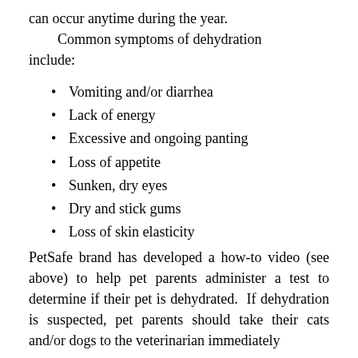can occur anytime during the year. Common symptoms of dehydration include:
Vomiting and/or diarrhea
Lack of energy
Excessive and ongoing panting
Loss of appetite
Sunken, dry eyes
Dry and stick gums
Loss of skin elasticity
PetSafe brand has developed a how-to video (see above) to help pet parents administer a test to determine if their pet is dehydrated. If dehydration is suspected, pet parents should take their cats and/or dogs to the veterinarian immediately